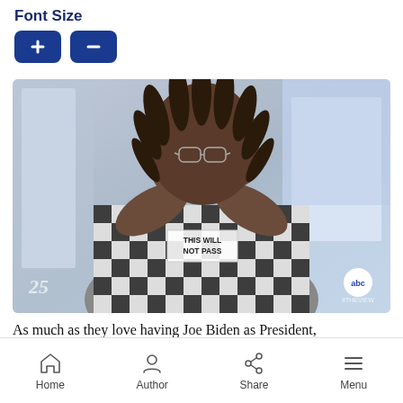Font Size
[Figure (photo): Woman with dreadlocks and glasses wearing a black and white checkered outfit, holding her hands near her face, on the set of The View (ABC). A sign reads 'THIS WILL NOT PASS'. The View 25th season watermark and ABC logo visible.]
As much as they love having Joe Biden as President,
Home  Author  Share  Menu